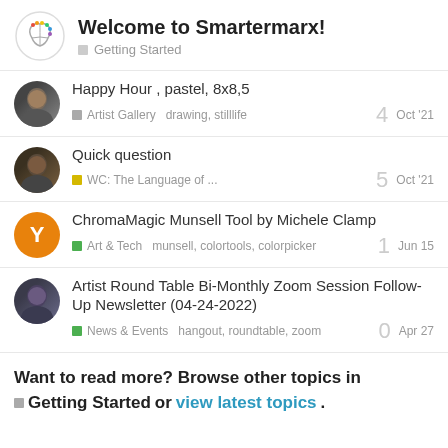Welcome to Smartermarx! — Getting Started
Happy Hour , pastel, 8x8,5 — Artist Gallery — drawing, stilllife — Oct '21 — 4 replies
Quick question — WC: The Language of ... — Oct '21 — 5 replies
ChromaMagic Munsell Tool by Michele Clamp — Art & Tech — munsell, colortools, colorpicker — Jun 15 — 1 reply
Artist Round Table Bi-Monthly Zoom Session Follow-Up Newsletter (04-24-2022) — News & Events — hangout, roundtable, zoom — Apr 27 — 0 replies
Want to read more? Browse other topics in Getting Started or view latest topics.